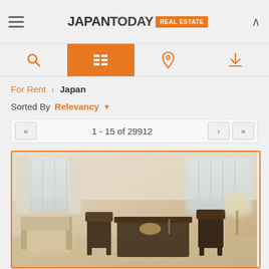JAPAN TODAY REAL ESTATE
For Rent › Japan
Sorted By Relevancy
1 - 15 of 29912
[Figure (photo): Interior photo of a furnished apartment room showing dark wood dining chairs and table, beige armchair, with bright windows in the background — bokeh/blurred style photo.]